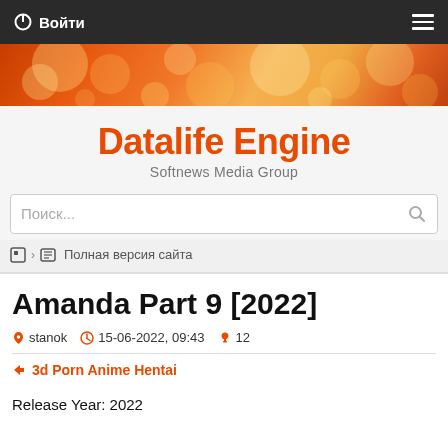Войти
[Figure (illustration): Orange bokeh/light circles banner image]
Datalife Engine
Softnews Media Group
Поиск...
Полная версия сайта
Amanda Part 9 [2022]
stanok  15-06-2022, 09:43  12
3d Porn Anime Hentai
Release Year: 2022